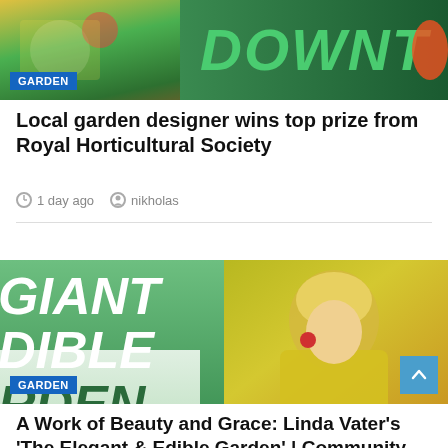[Figure (photo): Top banner image with colorful illustrated garden/mural background showing 'DOWNT' text in green, with a GARDEN badge overlay]
Local garden designer wins top prize from Royal Horticultural Society
1 day ago   nikholas
[Figure (photo): Second article image showing 'GIANT EDIBLE GARDEN' text on green background on left, and a woman in yellow sweater on right, with GARDEN badge and scroll-to-top arrow button]
A Work of Beauty and Grace: Linda Vater's 'The Elegant & Edible Garden' | Community